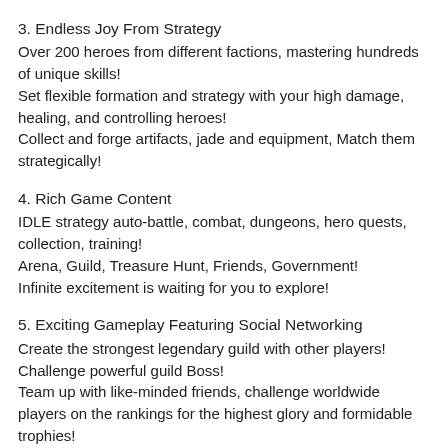3. Endless Joy From Strategy
Over 200 heroes from different factions, mastering hundreds of unique skills!
Set flexible formation and strategy with your high damage, healing, and controlling heroes!
Collect and forge artifacts, jade and equipment, Match them strategically!
4. Rich Game Content
IDLE strategy auto-battle, combat, dungeons, hero quests, collection, training!
Arena, Guild, Treasure Hunt, Friends, Government!
Infinite excitement is waiting for you to explore!
5. Exciting Gameplay Featuring Social Networking
Create the strongest legendary guild with other players!
Challenge powerful guild Boss!
Team up with like-minded friends, challenge worldwide players on the rankings for the highest glory and formidable trophies!